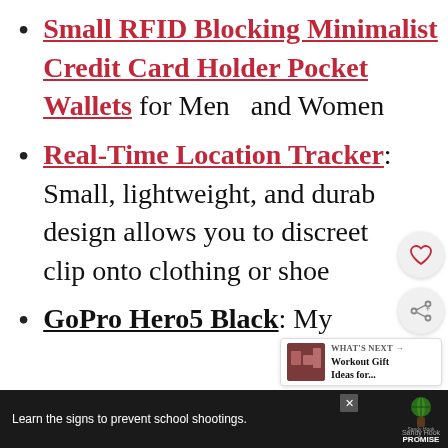Small RFID Blocking Minimalist Credit Card Holder Pocket Wallets for Men and Women
Real-Time Location Tracker: Small, lightweight, and durable design allows you to discreetly clip onto clothing or shoes
GoPro Hero5 Black: My
[Figure (screenshot): Heart/wishlist button overlay (circular icon button)]
[Figure (screenshot): Share button overlay (circular icon button)]
[Figure (screenshot): What's Next widget showing Workout Gift Ideas thumbnail]
[Figure (screenshot): Sandy Hook Promise advertisement banner at bottom of page]